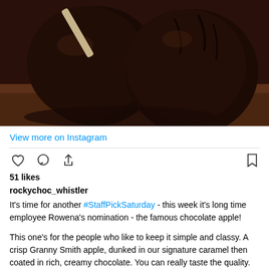[Figure (photo): Two chocolate-covered apples on a stick, one leaning against the other, on a wooden surface. Dark rich chocolate coating visible.]
View more on Instagram
51 likes
rockychoc_whistler
It's time for another #StaffPickSaturday - this week it's long time employee Rowena's nomination - the famous chocolate apple!

This one's for the people who like to keep it simple and classy. A crisp Granny Smith apple, dunked in our signature caramel then coated in rich, creamy chocolate. You can really taste the quality. You've worked hard all week - you deserve a taste of our fine goods.